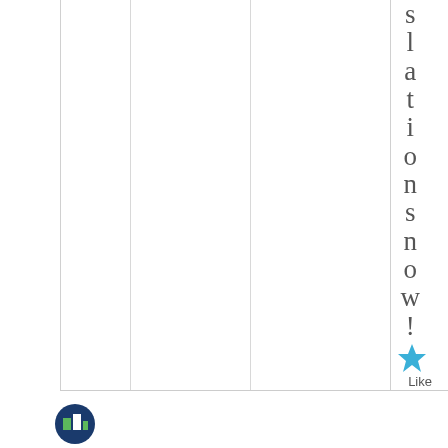slationsn
ow!
[Figure (other): Blue star icon for Like button]
Like
[Figure (logo): Circular logo icon with green and blue colors]